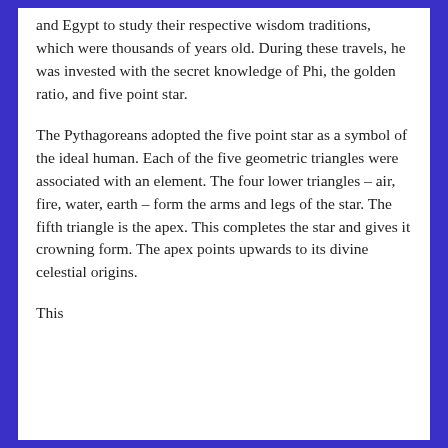and Egypt to study their respective wisdom traditions, which were thousands of years old. During these travels, he was invested with the secret knowledge of Phi, the golden ratio, and five point star.
The Pythagoreans adopted the five point star as a symbol of the ideal human. Each of the five geometric triangles were associated with an element. The four lower triangles – air, fire, water, earth – form the arms and legs of the star. The fifth triangle is the apex. This completes the star and gives it crowning form. The apex points upwards to its divine celestial origins.
This